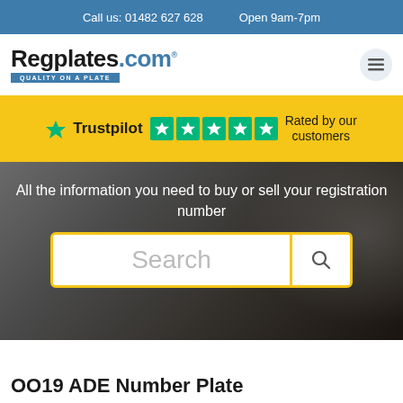Call us: 01482 627 628    Open 9am-7pm
[Figure (logo): Regplates.com logo with tagline 'Quality on a Plate' and hamburger menu icon]
[Figure (infographic): Trustpilot yellow bar with green star logo, Trustpilot label, five green star rating boxes, and text 'Rated by our customers']
All the information you need to buy or sell your registration number
[Figure (screenshot): Search box with yellow border, placeholder text 'Search' and a magnifying glass search button]
OO19 ADE Number Plate